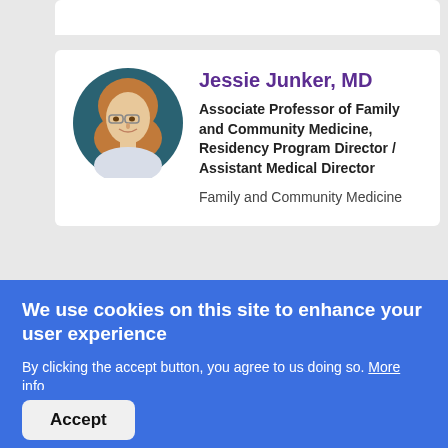[Figure (photo): Circular profile photo of Jessie Junker, MD — a woman with shoulder-length blonde/auburn hair and glasses, wearing a light-colored top, photographed against a teal/dark blue background]
Jessie Junker, MD
Associate Professor of Family and Community Medicine, Residency Program Director / Assistant Medical Director
Family and Community Medicine
[Figure (photo): Partially visible circular profile photo (cut off by cookie banner) of a second faculty member]
We use cookies on this site to enhance your user experience
By clicking the accept button, you agree to us doing so. More info
No thanks
Accept